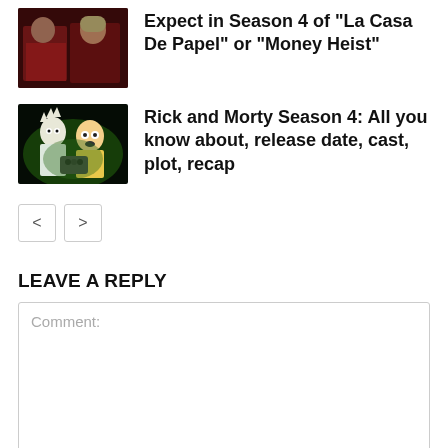[Figure (photo): Thumbnail image from La Casa De Papel / Money Heist showing characters in red suits]
Expect in Season 4 of “La Casa De Papel” or “Money Heist”
[Figure (photo): Thumbnail image of Rick and Morty animated characters on green background]
Rick and Morty Season 4: All you know about, release date, cast, plot, recap
< >
LEAVE A REPLY
Comment: